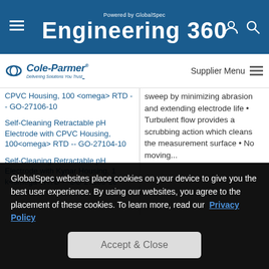Powered by GlobalSpec Engineering 360
[Figure (logo): Cole-Parmer logo with tagline 'Delivering Solutions You Trust']
Supplier Menu
CPVC Housing, 100 <omega> RTD -- GO-27106-10
Self-Cleaning Retractable pH Electrode with CPVC Housing, 100<omega> RTD -- GO-27104-10
Self-Cleaning Retractable pH Electrode with Kynar Housing, 1 k<omega> RTD -- GO-27105-20
sweep by minimizing abrasion and extending electrode life • Turbulent flow provides a scrubbing action which cleans the measurement surface • No moving...
GlobalSpec websites place cookies on your device to give you the best user experience. By using our websites, you agree to the placement of these cookies. To learn more, read our Privacy Policy
Accept & Close